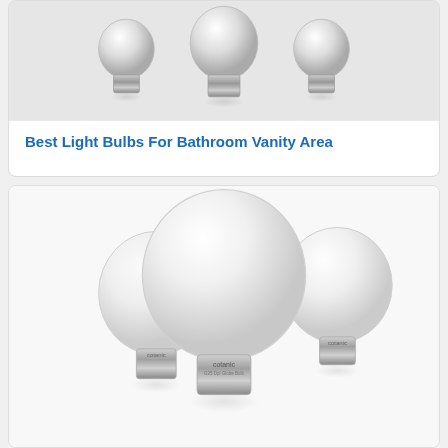[Figure (photo): Product photo showing multiple light bulbs (E26 base globe-style bulbs) photographed from above with metallic screw bases visible, displayed against a light gray background in a white card.]
Best Light Bulbs For Bathroom Vanity Area
[Figure (photo): Product photo showing multiple Cotanic brand globe LED light bulbs (G25 style), large round white frosted globes with E26 silver screw bases, arranged in a group of four with the largest one in front-center, on a white background inside a white card.]